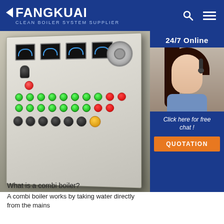FANGKUAI — Clean Boiler System Supplier
[Figure (photo): Photo of a large industrial boiler control panel (beige/cream cabinet) with multiple meters, indicator lights (red, green, yellow), switches and knobs. Background shows an industrial setting.]
[Figure (photo): 24/7 Online support sidebar showing a female customer service representative wearing a headset, with 'Click here for free chat!' text and an orange QUOTATION button.]
What is a combi boiler?
A combi boiler works by taking water directly from the mains